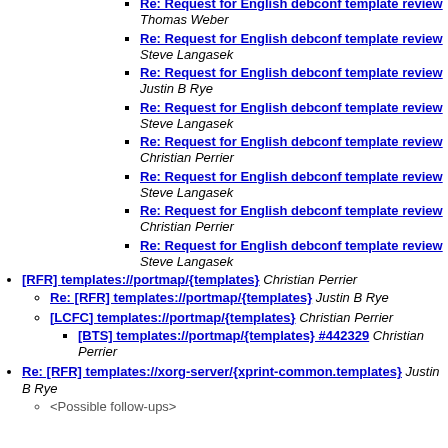Re: Request for English debconf template review Thomas Weber
Re: Request for English debconf template review Steve Langasek
Re: Request for English debconf template review Justin B Rye
Re: Request for English debconf template review Steve Langasek
Re: Request for English debconf template review Christian Perrier
Re: Request for English debconf template review Steve Langasek
Re: Request for English debconf template review Christian Perrier
Re: Request for English debconf template review Steve Langasek
[RFR] templates://portmap/{templates} Christian Perrier
Re: [RFR] templates://portmap/{templates} Justin B Rye
[LCFC] templates://portmap/{templates} Christian Perrier
[BTS] templates://portmap/{templates} #442329 Christian Perrier
Re: [RFR] templates://xorg-server/{xprint-common.templates} Justin B Rye
<Possible follow-ups>